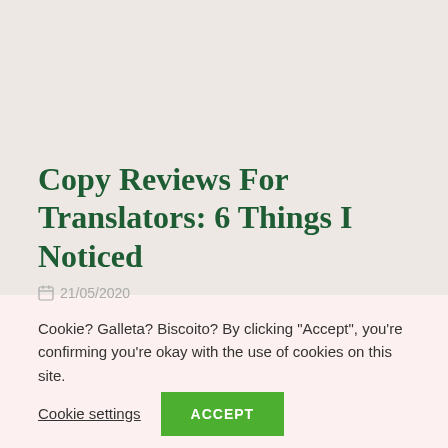Copy Reviews For Translators: 6 Things I Noticed
21/05/2020
Cookie? Galleta? Biscoito? By clicking "Accept", you're confirming you're okay with the use of cookies on this site.
Cookie settings
ACCEPT